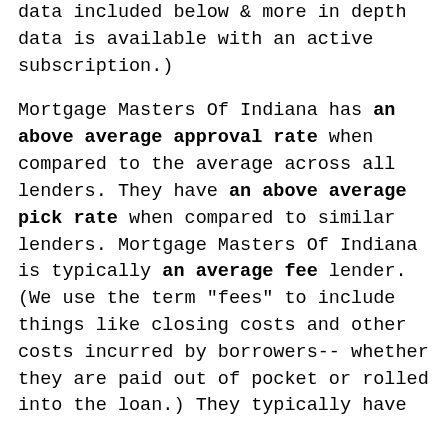data included below & more in depth data is available with an active subscription.)
Mortgage Masters Of Indiana has an above average approval rate when compared to the average across all lenders. They have an above average pick rate when compared to similar lenders. Mortgage Masters Of Indiana is typically an average fee lender. (We use the term "fees" to include things like closing costs and other costs incurred by borrowers-- whether they are paid out of pocket or rolled into the loan.) They typically have